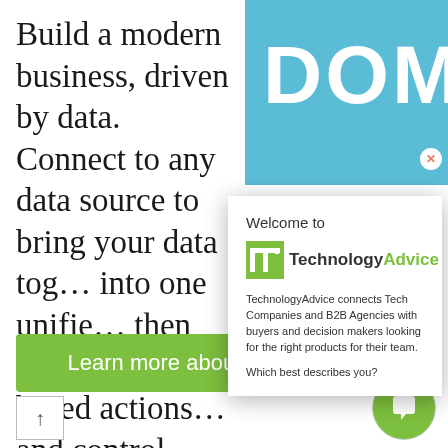Build a modern business, driven by data. Connect to any data source to bring your data together into one unified... then make an... based actions... and control. D... in all industrie... organization f...
[Figure (logo): DOMO logo in white text on blue background, partially visible in top right corner]
Welcome to
[Figure (logo): TechnologyAdvice logo: green TA square icon followed by 'Technology' in dark gray bold and 'Advice' in green bold]
TechnologyAdvice connects Tech Companies and B2B Agencies with buyers and decision makers looking for the right products for their team.
Which best describes you?
Learn more about Domo »